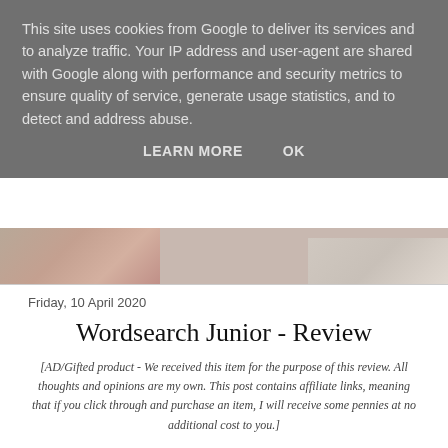This site uses cookies from Google to deliver its services and to analyze traffic. Your IP address and user-agent are shared with Google along with performance and security metrics to ensure quality of service, generate usage statistics, and to detect and address abuse.
LEARN MORE    OK
[Figure (photo): Partial view of two photos visible beneath the cookie banner overlay]
Friday, 10 April 2020
Wordsearch Junior - Review
[AD/Gifted product - We received this item for the purpose of this review. All thoughts and opinions are my own. This post contains affiliate links, meaning that if you click through and purchase an item, I will receive some pennies at no additional cost to you.]
We find ourselves in a very strange world at the moment. Workplaces and schools are closed and we must stay indoors. I am trying my best when it comes to